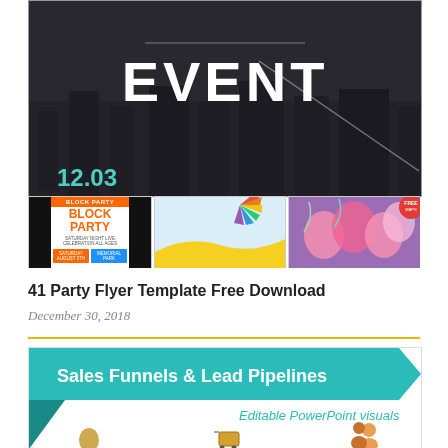[Figure (photo): Dark event flyer image with large white text 'EVENT' and teal date '12.03']
[Figure (photo): Three thumbnail images: Block Party flyer, colorful banner template, pink balloons photo]
41 Party Flyer Template Free Download
December 30, 2018
[Figure (infographic): Sales Funnels & Lead Pipelines - Editable PowerPoint visuals banner with teal arrow design and icons below]